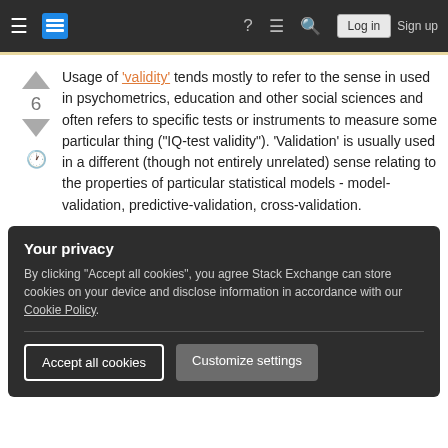Stack Exchange navigation bar with hamburger menu, logo, help, chat, search icons, Log in and Sign up buttons
Usage of 'validity' tends mostly to refer to the sense in used in psychometrics, education and other social sciences and often refers to specific tests or instruments to measure some particular thing ("IQ-test validity"). 'Validation' is usually used in a different (though not entirely unrelated) sense relating to the properties of particular statistical models - model-validation, predictive-validation, cross-validation.
Your privacy
By clicking "Accept all cookies", you agree Stack Exchange can store cookies on your device and disclose information in accordance with our Cookie Policy.
Accept all cookies | Customize settings